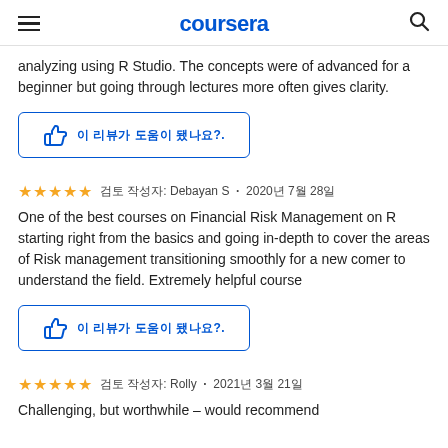coursera
analyzing using R Studio. The concepts were of advanced for a beginner but going through lectures more often gives clarity.
이 리뷰가 도움이 됐나요?.
★★★★★ 검토 작성자: Debayan S • 2020년 7월 28일
One of the best courses on Financial Risk Management on R starting right from the basics and going in-depth to cover the areas of Risk management transitioning smoothly for a new comer to understand the field. Extremely helpful course
이 리뷰가 도움이 됐나요?.
★★★★★ 검토 작성자: Rolly • 2021년 3월 21일
Challenging, but worthwhile – would recommend